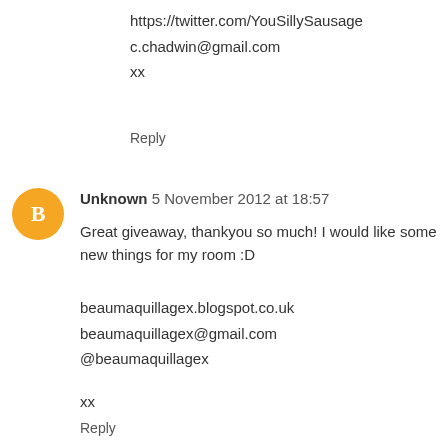https://twitter.com/YouSillySausage
c.chadwin@gmail.com
xx
Reply
Unknown 5 November 2012 at 18:57
Great giveaway, thankyou so much! I would like some new things for my room :D
beaumaquillagex.blogspot.co.uk
beaumaquillagex@gmail.com
@beaumaquillagex
xx
Reply
Unknown 5 November 2012 at 19:18
Such a great giveaway! I think all I'm really asking for is